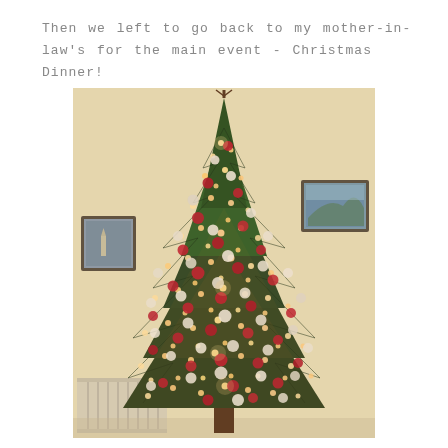Then we left to go back to my mother-in-law's for the main event - Christmas Dinner!
[Figure (photo): A decorated Christmas tree with red and white/silver baubles, string fairy lights glowing warmly, set in a room with cream/yellow walls and framed pictures on the wall. A white radiator is visible at the bottom left.]